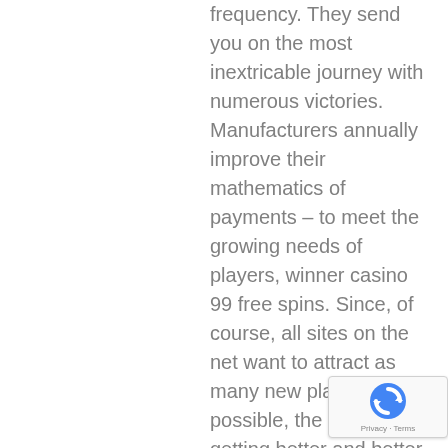frequency. They send you on the most inextricable journey with numerous victories. Manufacturers annually improve their mathematics of payments – to meet the growing needs of players, winner casino 99 free spins. Since, of course, all sites on the net want to attract as many new players as possible, the offers are getting better and better through this competitive pressure, bitstarz casino bonus code ohne einzahlung. A quite simple to be sophisticated system, in which one can benefit from competition at the online
[Figure (other): Google reCAPTCHA badge with rotating arrow logo, showing 'Privacy - Terms' text]